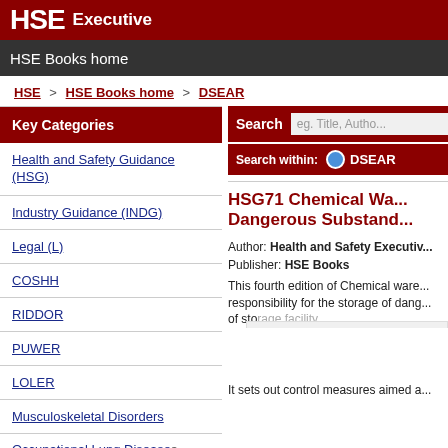HSE Executive
HSE Books home
HSE > HSE Books home > DSEAR
Key Categories
Health and Safety Guidance (HSG)
Industry Guidance (INDG)
Legal (L)
COSHH
RIDDOR
PUWER
LOLER
Musculoskeletal Disorders
Occupational Lung Diseases
HSG71 Chemical Wa... Dangerous Substand...
Author: Health and Safety Executiv...
Publisher: HSE Books
This fourth edition of Chemical ware... responsibility for the storage of dang... of storage facility.
Back to Top
It sets out control measures aimed a...